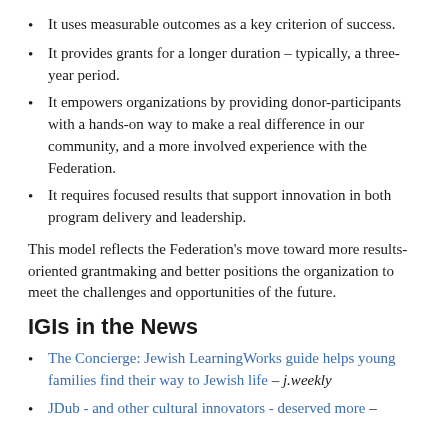It uses measurable outcomes as a key criterion of success.
It provides grants for a longer duration – typically, a three-year period.
It empowers organizations by providing donor-participants with a hands-on way to make a real difference in our community, and a more involved experience with the Federation.
It requires focused results that support innovation in both program delivery and leadership.
This model reflects the Federation's move toward more results-oriented grantmaking and better positions the organization to meet the challenges and opportunities of the future.
IGIs in the News
The Concierge: Jewish LearningWorks guide helps young families find their way to Jewish life – j.weekly
JDub - and other cultural innovators - deserved more –